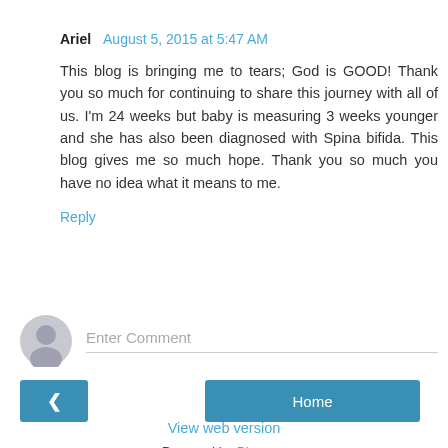Ariel  August 5, 2015 at 5:47 AM
This blog is bringing me to tears; God is GOOD! Thank you so much for continuing to share this journey with all of us. I'm 24 weeks but baby is measuring 3 weeks younger and she has also been diagnosed with Spina bifida. This blog gives me so much hope. Thank you so much you have no idea what it means to me.
Reply
Enter Comment
< Home
View web version
Powered by Blogger.